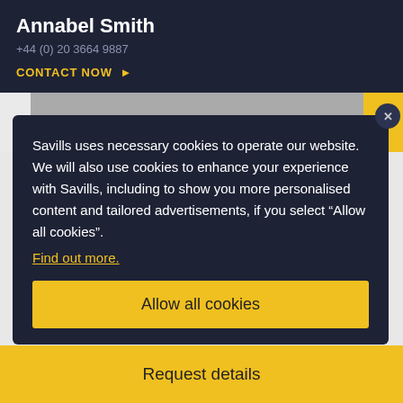Annabel Smith
+44 (0) 20 3664 9887
CONTACT NOW ▶
[Figure (screenshot): Image carousel strip with navigation arrows, photo count icon showing 36, and a star/favourite icon]
Savills uses necessary cookies to operate our website. We will also use cookies to enhance your experience with Savills, including to show you more personalised content and tailored advertisements, if you select “Allow all cookies”. Find out more.
Allow all cookies
Request details